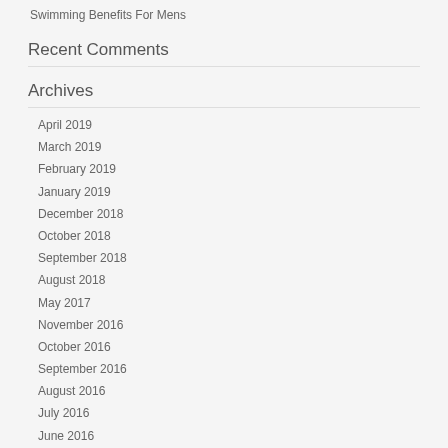Swimming Benefits For Mens
Recent Comments
Archives
April 2019
March 2019
February 2019
January 2019
December 2018
October 2018
September 2018
August 2018
May 2017
November 2016
October 2016
September 2016
August 2016
July 2016
June 2016
May 2016
April 2016